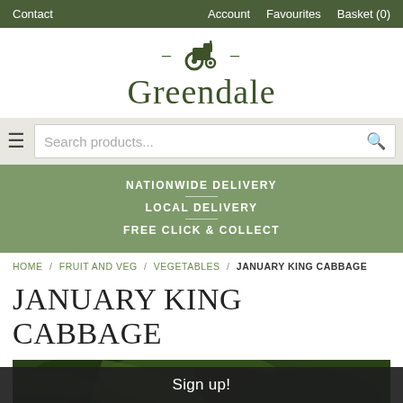Contact   Account   Favourites   Basket (0)
[Figure (logo): Greendale logo with tractor icon and dashes, text 'Greendale']
Search products...
NATIONWIDE DELIVERY
LOCAL DELIVERY
FREE CLICK & COLLECT
HOME / FRUIT AND VEG / VEGETABLES / JANUARY KING CABBAGE
JANUARY KING CABBAGE
[Figure (photo): Photo of January King Cabbage, dark green leaves]
Sign up!